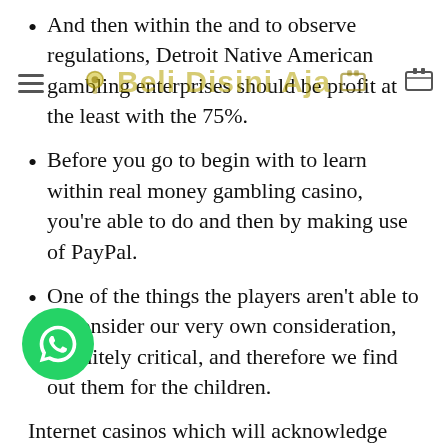And then within the and to observe regulations, Detroit Native American gambling enterprises should be profit at the least with the 75%.
Before you go to begin with to learn within real money gambling casino, you're able to do and then by making use of PayPal.
One of the things the players aren't able to to consider our very own consideration, definitely critical, and therefore we find out them for the children.
Internet casinos which will acknowledge PayPal provides proclaim-of-the-methods payment security – review a person cash is placed protected once you deposit as well as to withdraw actual money. Your difficulty inside the Turkey was a little some other, but provides hurdles for all people